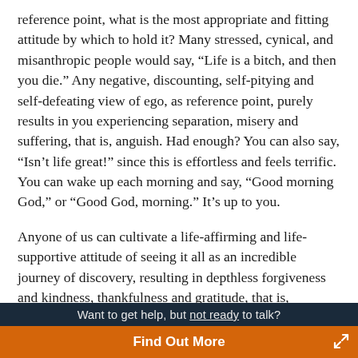reference point, what is the most appropriate and fitting attitude by which to hold it? Many stressed, cynical, and misanthropic people would say, “Life is a bitch, and then you die.” Any negative, discounting, self-pitying and self-defeating view of ego, as reference point, purely results in you experiencing separation, misery and suffering, that is, anguish. Had enough? You can also say, “Isn’t life great!” since this is effortless and feels terrific. You can wake up each morning and say, “Good morning God,” or “Good God, morning.” It’s up to you.
Anyone of us can cultivate a life-affirming and life-supportive attitude of seeing it all as an incredible journey of discovery, resulting in depthless forgiveness and kindness, thankfulness and gratitude, that is, blessing. This alternative place to come from or hold ego as a reference point usually results in natural happiness, welcoming
Want to get help, but not ready to talk?
Find Out More